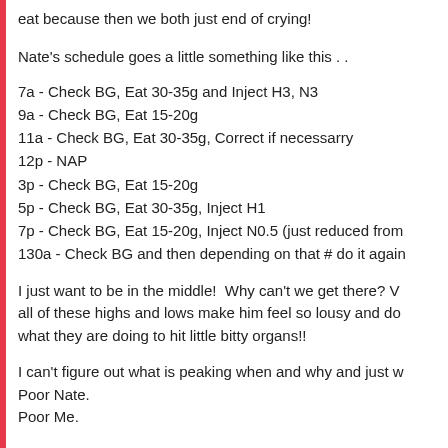eat because then we both just end of crying!
Nate's schedule goes a little something like this . .
7a - Check BG, Eat 30-35g and Inject H3, N3
9a - Check BG, Eat 15-20g
11a - Check BG, Eat 30-35g, Correct if necessarry
12p - NAP
3p - Check BG, Eat 15-20g
5p - Check BG, Eat 30-35g, Inject H1
7p - Check BG, Eat 15-20g, Inject N0.5 (just reduced from
130a - Check BG and then depending on that # do it again
I just want to be in the middle!  Why can't we get there? all of these highs and lows make him feel so lousy and do what they are doing to hit little bitty organs!!
I can't figure out what is peaking when and why and just w Poor Nate.
Poor Me.